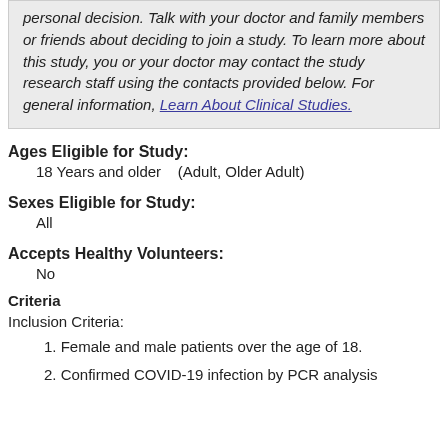personal decision. Talk with your doctor and family members or friends about deciding to join a study. To learn more about this study, you or your doctor may contact the study research staff using the contacts provided below. For general information, Learn About Clinical Studies.
Ages Eligible for Study:
18 Years and older   (Adult, Older Adult)
Sexes Eligible for Study:
All
Accepts Healthy Volunteers:
No
Criteria
Inclusion Criteria:
1. Female and male patients over the age of 18.
2. Confirmed COVID-19 infection by PCR analysis